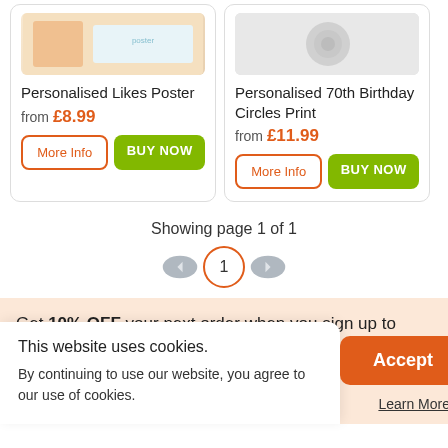[Figure (photo): Product image for Personalised Likes Poster - colorful product photo (partially cropped at top)]
Personalised Likes Poster
from £8.99
[Figure (photo): Product image for Personalised 70th Birthday Circles Print - partially visible grey placeholder]
Personalised 70th Birthday Circles Print
from £11.99
Showing page 1 of 1
Get 10% OFF your next order when you sign up to
This website uses cookies.
By continuing to use our website, you agree to our use of cookies.
Learn More
bscribe at any time.